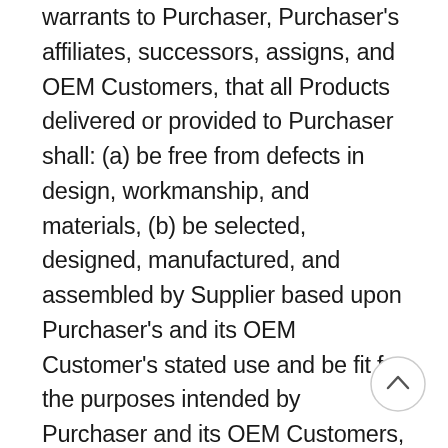warrants to Purchaser, Purchaser's affiliates, successors, assigns, and OEM Customers, that all Products delivered or provided to Purchaser shall: (a) be free from defects in design, workmanship, and materials, (b) be selected, designed, manufactured, and assembled by Supplier based upon Purchaser's and its OEM Customer's stated use and be fit for the purposes intended by Purchaser and its OEM Customers, (c) conform to all applicable laws, orders, regulations, and standards in countries where the Products are to be sold, (d) be free of all third party rights, liens and encumbrances, and (e) not infringe or contribute to the infringement of any U.S. or foreign patent or patent right or other